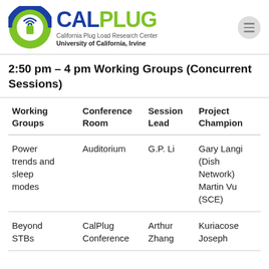[Figure (logo): CalPlug logo: circular icon with plug and wifi symbol in blue and green, beside text CALPLUG (CAL in blue, PLUG in green) with subtitle California Plug Load Research Center, University of California, Irvine]
2:50 pm – 4 pm Working Groups (Concurrent Sessions)
| Working Groups | Conference Room | Session Lead | Project Champion |
| --- | --- | --- | --- |
| Power trends and sleep modes | Auditorium | G.P. Li | Gary Langi (Dish Network) Martin Vu (SCE) |
| Beyond STBs | CalPlug Conference | Arthur Zhang | Kuriacose Joseph |